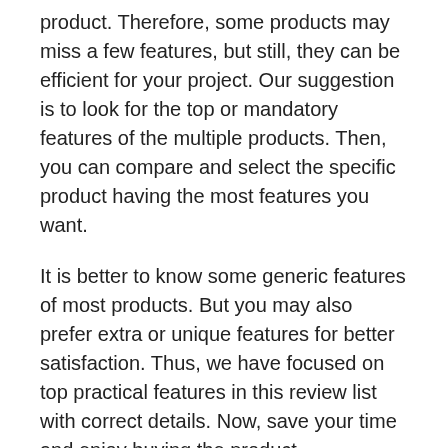product. Therefore, some products may miss a few features, but still, they can be efficient for your project. Our suggestion is to look for the top or mandatory features of the multiple products. Then, you can compare and select the specific product having the most features you want.
It is better to know some generic features of most products. But you may also prefer extra or unique features for better satisfaction. Thus, we have focused on top practical features in this review list with correct details. Now, save your time and enjoy buying the product.
Top Benefits and Drawbacks
It is not it is possible to get of 100% perfect...